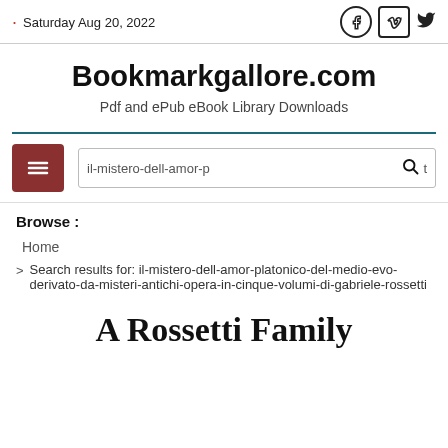· Saturday Aug 20, 2022
Bookmarkgallore.com
Pdf and ePub eBook Library Downloads
il-mistero-dell-amor-p... [search box]
Browse :
Home
> Search results for: il-mistero-dell-amor-platonico-del-medio-evo-derivato-da-misteri-antichi-opera-in-cinque-volumi-di-gabriele-rossetti
A Rossetti Family